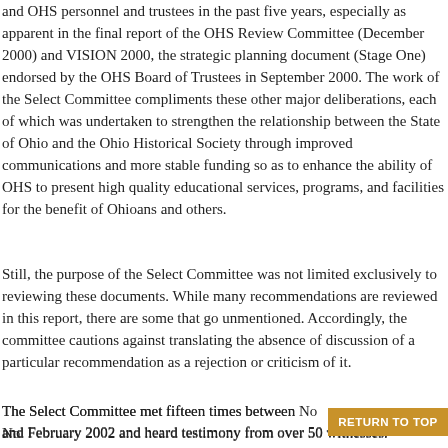and OHS personnel and trustees in the past five years, especially as apparent in the final report of the OHS Review Committee (December 2000) and VISION 2000, the strategic planning document (Stage One) endorsed by the OHS Board of Trustees in September 2000. The work of the Select Committee compliments these other major deliberations, each of which was undertaken to strengthen the relationship between the State of Ohio and the Ohio Historical Society through improved communications and more stable funding so as to enhance the ability of OHS to present high quality educational services, programs, and facilities for the benefit of Ohioans and others.
Still, the purpose of the Select Committee was not limited exclusively to reviewing these documents. While many recommendations are reviewed in this report, there are some that go unmentioned. Accordingly, the committee cautions against translating the absence of discussion of a particular recommendation as a rejection or criticism of it.
The Select Committee met fifteen times between November 2001 and February 2002 and heard testimony from over 50 witnesses.